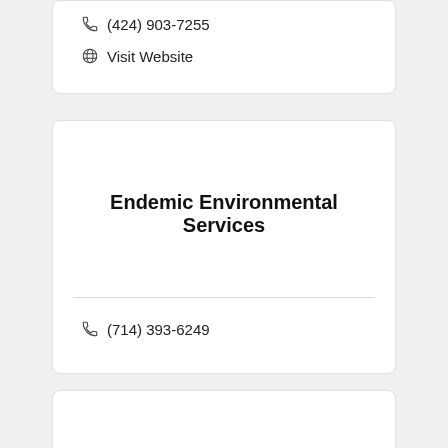(424) 903-7255
Visit Website
Endemic Environmental Services
(714) 393-6249